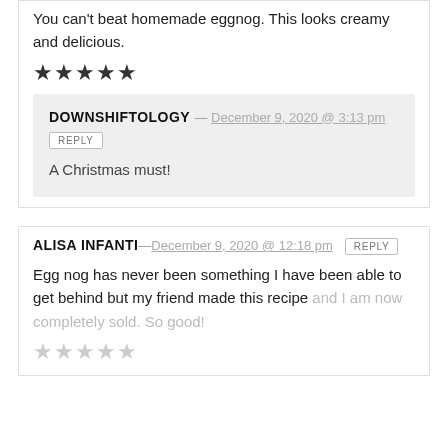You can't beat homemade eggnog. This looks creamy and delicious.
★★★★★
DOWNSHIFTOLOGY — December 9, 2020 @ 3:13 pm
REPLY
A Christmas must!
ALISA INFANTI — December 9, 2020 @ 12:18 pm REPLY
Egg nog has never been something I have been able to get behind but my friend made this recipe and I am now completely sold. So good!
★★★★★